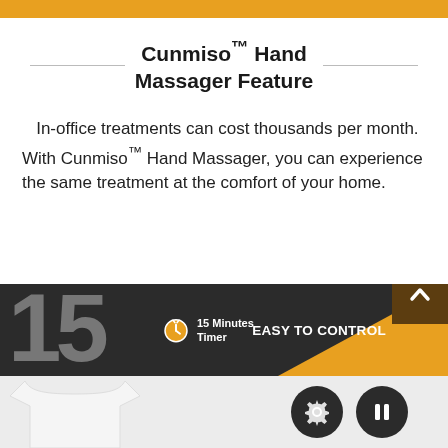Cunmiso™ Hand Massager Feature
In-office treatments can cost thousands per month. With Cunmiso™ Hand Massager, you can experience the same treatment at the comfort of your home.
[Figure (infographic): Infographic section showing '15 Minutes Timer' and 'EASY TO CONTROL' on a dark background with orange accent, plus a bottom section with a shirt image and circular icons for settings and pause controls.]